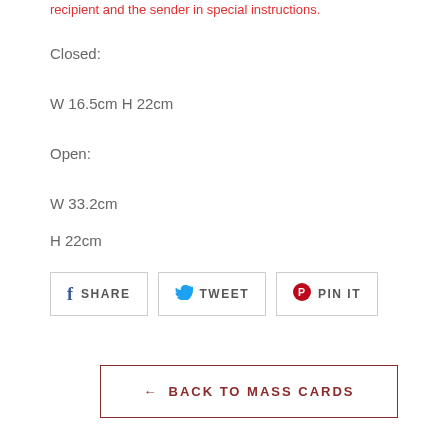recipient and the sender in special instructions.
Closed:
W 16.5cm H 22cm
Open:
W 33.2cm
H 22cm
SHARE   TWEET   PIN IT
← BACK TO MASS CARDS